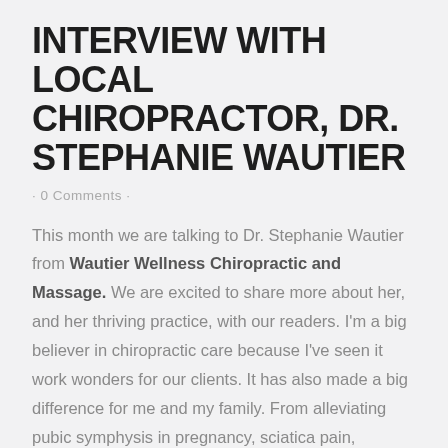INTERVIEW WITH LOCAL CHIROPRACTOR, DR. STEPHANIE WAUTIER
· 0 Comments ·
This month we are talking to Dr. Stephanie Wautier from Wautier Wellness Chiropractic and Massage. We are excited to share more about her, and her thriving practice, with our readers. I'm a big believer in chiropractic care because I've seen it work wonders for our clients. It has also made a big difference for me and my family. From alleviating pubic symphysis in pregnancy, sciatica pain, earaches, nursing